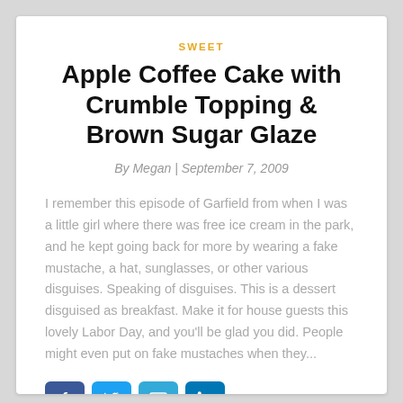SWEET
Apple Coffee Cake with Crumble Topping & Brown Sugar Glaze
By Megan | September 7, 2009
I remember this episode of Garfield from when I was a little girl where there was free ice cream in the park, and he kept going back for more by wearing a fake mustache, a hat, sunglasses, or other various disguises. Speaking of disguises. This is a dessert disguised as breakfast. Make it for house guests this lovely Labor Day, and you'll be glad you did. People might even put on fake mustaches when they...
[Figure (other): Social sharing icons: Facebook, Twitter, Email, LinkedIn buttons in blue]